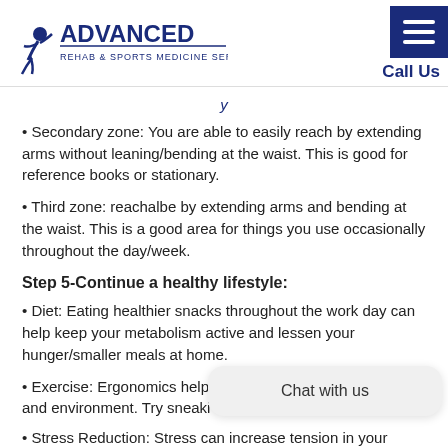Advanced Rehab & Sports Medicine Services | Call Us
Secondary zone: You are able to easily reach by extending arms without leaning/bending at the waist. This is good for reference books or stationary.
Third zone: reachalbe by extending arms and bending at the waist. This is a good area for things you use occasionally throughout the day/week.
Step 5-Continue a healthy lifestyle:
Diet: Eating healthier snacks throughout the work day can help keep your metabolism active and lessen your hunger/smaller meals at home.
Exercise: Ergonomics help… exercise helps make your b… and environment. Try sneaki…
Stress Reduction: Stress can increase tension in your